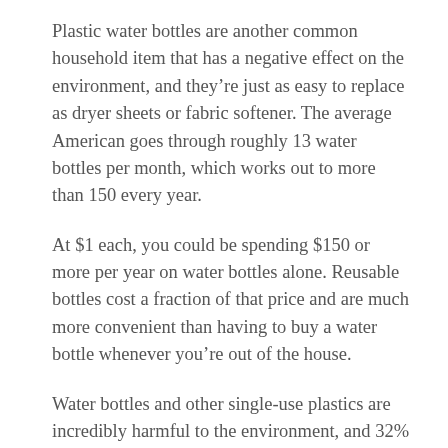Plastic water bottles are another common household item that has a negative effect on the environment, and they're just as easy to replace as dryer sheets or fabric softener. The average American goes through roughly 13 water bottles per month, which works out to more than 150 every year.
At $1 each, you could be spending $150 or more per year on water bottles alone. Reusable bottles cost a fraction of that price and are much more convenient than having to buy a water bottle whenever you're out of the house.
Water bottles and other single-use plastics are incredibly harmful to the environment, and 32% of these materials end up in Earth's oceans. By moving to a reusable water bottle, you're doing your part to reduce our impact on the environment at a critical